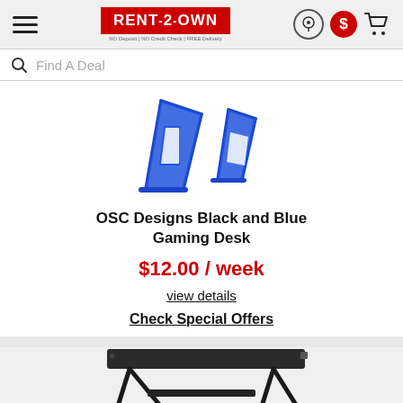Rent-2-Own | NO Deposit | NO Credit Check | FREE Delivery
Find A Deal
[Figure (photo): OSC Designs Black and Blue Gaming Desk product image showing blue metal frame legs from two angles]
OSC Designs Black and Blue Gaming Desk
$12.00 / week
view details
Check Special Offers
[Figure (photo): Partial view of a dark gaming desk with black legs and dark surface, cropped at bottom of page]